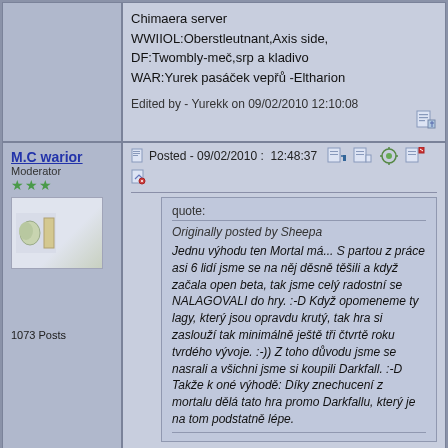Chimaera server
WWIIOL:Oberstleutnant,Axis side,
DF:Twombly-meč,srp a kladivo
WAR:Yurek pasáček vepřů -Eltharion
Edited by - Yurekk on 09/02/2010 12:10:08
M.C warior
Moderator
1073 Posts
Posted - 09/02/2010 : 12:48:37
quote:
Originally posted by Sheepa
Jednu výhodu ten Mortal má... S partou z práce asi 6 lidí jsme se na něj děsně těšili a když začala open beta, tak jsme celý radostní se NALAGOVALI do hry. :-D Když opomeneme ty lagy, který jsou opravdu krutý, tak hra si zaslouží tak minimálně ještě tři čtvrtě roku tvrdého vývoje. :-)) Z toho důvodu jsme se nasrali a všichni jsme si koupili Darkfall. :-D Takže k oné výhodě: Díky znechucení z mortalu dělá tato hra promo Darkfallu, který je na tom podstatně lépe.
Vtipné :)
https://www.facebook.com/esqgame